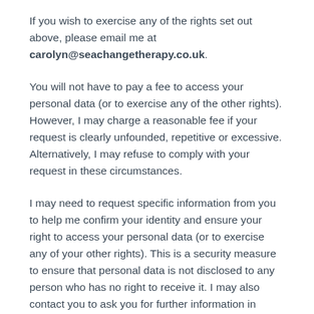If you wish to exercise any of the rights set out above, please email me at carolyn@seachangetherapy.co.uk.
You will not have to pay a fee to access your personal data (or to exercise any of the other rights). However, I may charge a reasonable fee if your request is clearly unfounded, repetitive or excessive. Alternatively, I may refuse to comply with your request in these circumstances.
I may need to request specific information from you to help me confirm your identity and ensure your right to access your personal data (or to exercise any of your other rights). This is a security measure to ensure that personal data is not disclosed to any person who has no right to receive it. I may also contact you to ask you for further information in relation to your request to speed up our response.